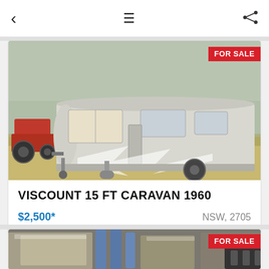< ≡  (share icon)
[Figure (photo): Photo of a white vintage Viscount 15 ft caravan from 1960 parked in a rural field. A red tractor is visible on the left side. The caravan has a distinctive silver lightning bolt stripe design on its side. A gas cylinder is visible near the front. FOR SALE badge in red top right corner.]
VISCOUNT 15 FT CARAVAN 1960
$2,500*
NSW, 2705
[Figure (photo): Partially visible photo of items wrapped in plastic bags with blue metal tubes or poles visible. FOR SALE badge in red top right corner.]